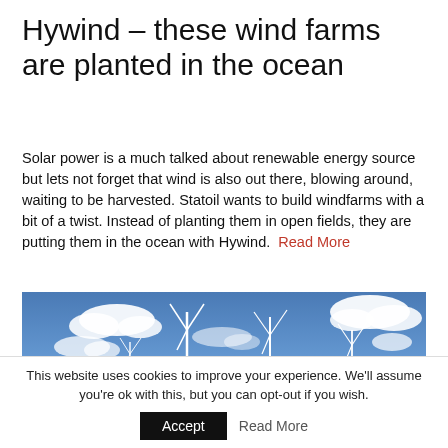Hywind – these wind farms are planted in the ocean
Solar power is a much talked about renewable energy source but lets not forget that wind is also out there, blowing around, waiting to be harvested. Statoil wants to build windfarms with a bit of a twist. Instead of planting them in open fields, they are putting them in the ocean with Hywind.  Read More
[Figure (photo): Wide-angle photograph of wind turbines against a blue sky with white clouds]
This website uses cookies to improve your experience. We'll assume you're ok with this, but you can opt-out if you wish.
Accept   Read More